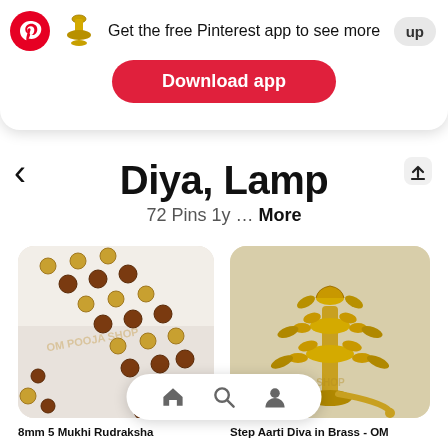[Figure (screenshot): Pinterest mobile app banner: Pinterest logo, brass diya icon, text 'Get the free Pinterest app to see more', 'up' button, and red 'Download app' button]
Diya, Lamp
72 Pins 1y ... More
[Figure (photo): Photo of 8mm 5 Mukhi Rudraksha mala/necklace with gold beads on light background with OM POOJA SHOP watermark]
[Figure (photo): Photo of Step Aarti Diva in Brass - OM Pooja Shop product, multi-tier brass diya lamp]
8mm 5 Mukhi Rudraksha
Step Aarti Diva in Brass - OM